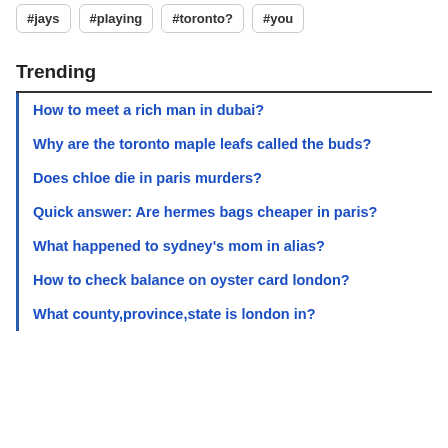#jays
#playing
#toronto?
#you
Trending
How to meet a rich man in dubai?
Why are the toronto maple leafs called the buds?
Does chloe die in paris murders?
Quick answer: Are hermes bags cheaper in paris?
What happened to sydney's mom in alias?
How to check balance on oyster card london?
What county,province,state is london in?